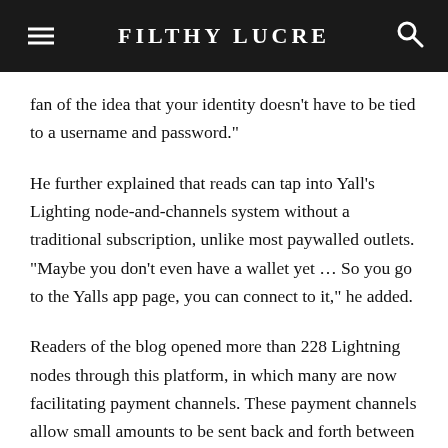FILTHY LUCRE
fan of the idea that your identity doesn’t have to be tied to a username and password.”
He further explained that reads can tap into Yall’s Lighting node-and-channels system without a traditional subscription, unlike most paywalled outlets. “Maybe you don’t even have a wallet yet … So you go to the Yalls app page, you can connect to it,” he added.
Readers of the blog opened more than 228 Lightning nodes through this platform, in which many are now facilitating payment channels. These payment channels allow small amounts to be sent back and forth between users before a final settlement on the blockchain.